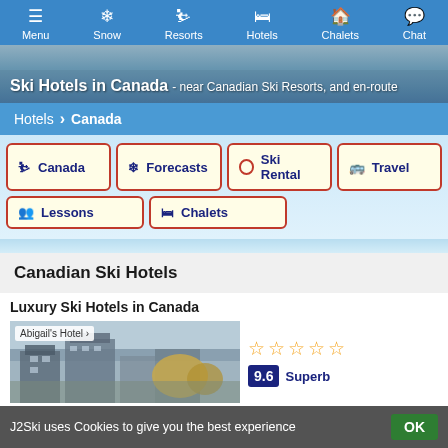Menu | Snow | Resorts | Hotels | Chalets | Chat
Ski Hotels in Canada - near Canadian Ski Resorts, and en-route
Hotels > Canada
Canada | Forecasts | Ski Rental | Travel | Lessons | Chalets
Canadian Ski Hotels
Luxury Ski Hotels in Canada
[Figure (photo): Photo of Abigail's Hotel exterior with trees]
Abigail's Hotel
9.6 Superb
J2Ski uses Cookies to give you the best experience